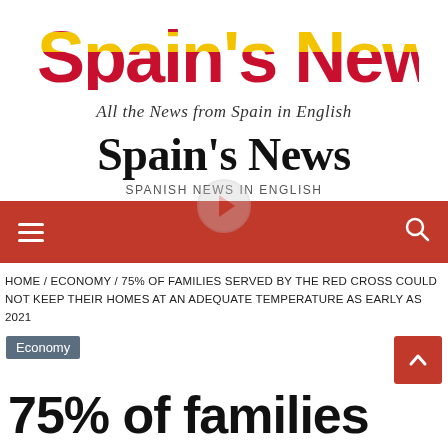[Figure (logo): Spain's News logo with red and yellow striped text and tagline 'All the News from Spain in English']
Spain's News
SPANISH NEWS IN ENGLISH
[Figure (screenshot): Red navigation bar with hamburger menu icon on left and search icon on right, with a partially visible phone icon in the center]
HOME / ECONOMY / 75% OF FAMILIES SERVED BY THE RED CROSS COULD NOT KEEP THEIR HOMES AT AN ADEQUATE TEMPERATURE AS EARLY AS 2021
Economy
75% of families